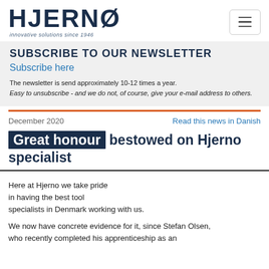HJERNØ — innovative solutions since 1946
SUBSCRIBE TO OUR NEWSLETTER
Subscribe here
The newsletter is send approximately 10-12 times a year. Easy to unsubscribe - and we do not, of course, give your e-mail address to others.
December 2020
Read this news in Danish
Great honour bestowed on Hjerno specialist
Here at Hjerno we take pride in having the best tool specialists in Denmark working with us.
We now have concrete evidence for it, since Stefan Olsen, who recently completed his apprenticeship as an